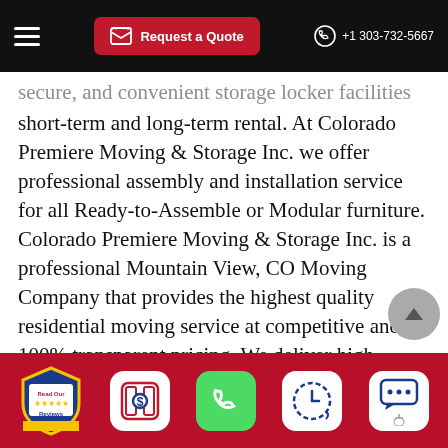Request a Quote | +1 303-732-5667
secure, and convenient storage locker facilities for both short-term and long-term rental. At Colorado Premiere Moving & Storage Inc. we offer professional assembly and installation service for all Ready-to-Assemble or Modular furniture. Colorado Premiere Moving & Storage Inc. is a professional Mountain View, CO Moving Company that provides the highest quality residential moving service at competitive and 100% transparent pricing. We deliver high-quality residential moving service as well as a white-glove delivery service in Mountain View, CO.
Mountain View Residential Movers Near Me
[Figure (infographic): Bottom toolbar with five icons: Read Our Reviews badge, dollar sign quote icon, green phone icon, clock/timer icon, and chat/message icon with hand cursor.]